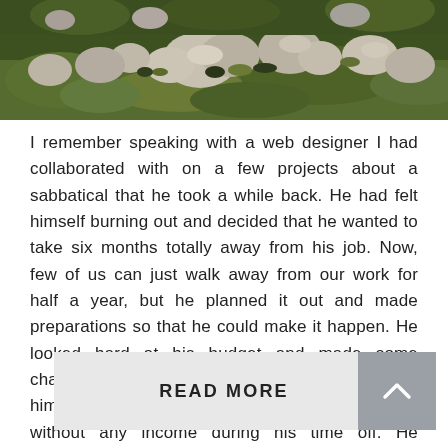[Figure (photo): Rocky hillside with green vegetation and large boulders, partial view cropped at top of page]
I remember speaking with a web designer I had collaborated with on a few projects about a sabbatical that he took a while back. He had felt himself burning out and decided that he wanted to take six months totally away from his job. Now, few of us can just walk away from our work for half a year, but he planned it out and made preparations so that he could make it happen. He looked hard at his budget and made some changes so he could save some money and give himself a cushion that would allow him to go without any income during his time off. He admitted to me that it was difficult, but workable, and he did take that time off after about a year of working and saving.